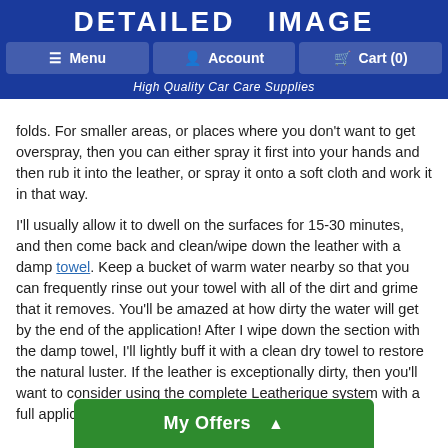DETAILED IMAGE
Menu | Account | Cart (0)
High Quality Car Care Supplies
folds. For smaller areas, or places where you don't want to get overspray, then you can either spray it first into your hands and then rub it into the leather, or spray it onto a soft cloth and work it in that way.
I'll usually allow it to dwell on the surfaces for 15-30 minutes, and then come back and clean/wipe down the leather with a damp towel. Keep a bucket of warm water nearby so that you can frequently rinse out your towel with all of the dirt and grime that it removes. You'll be amazed at how dirty the water will get by the end of the application! After I wipe down the section with the damp towel, I'll lightly buff it with a clean dry towel to restore the natural luster. If the leather is exceptionally dirty, then you'll want to consider using the complete Leatherique system with a full application of Rejuvenator Oil as well.
How Often Should I Use Prestine Clean?
Unlike other lea... Prestine Clean won't build up o... as often as you